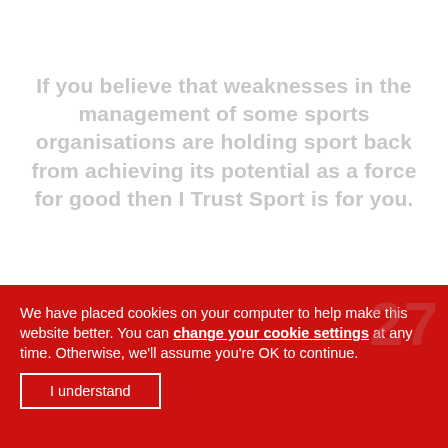If you believe that weaknesses in the management of some sports organisations are holding sport back from achieving its potential as a force for good then I Trust Sport is for you.
We have placed cookies on your computer to help make this website better. You can change your cookie settings at any time. Otherwise, we'll assume you're OK to continue.
I understand